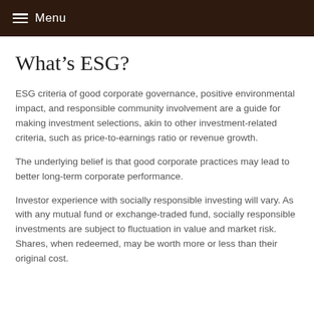Menu
What’s ESG?
ESG criteria of good corporate governance, positive environmental impact, and responsible community involvement are a guide for making investment selections, akin to other investment-related criteria, such as price-to-earnings ratio or revenue growth.
The underlying belief is that good corporate practices may lead to better long-term corporate performance.
Investor experience with socially responsible investing will vary. As with any mutual fund or exchange-traded fund, socially responsible investments are subject to fluctuation in value and market risk. Shares, when redeemed, may be worth more or less than their original cost.